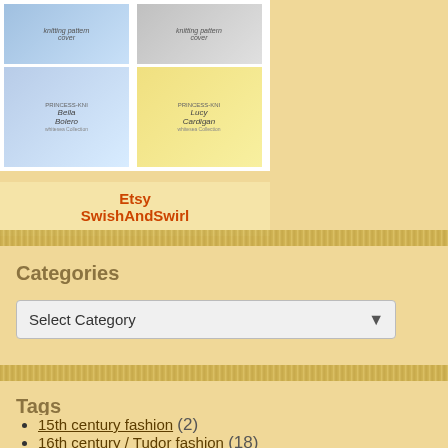[Figure (illustration): Grid of four doll knitting pattern product images showing knitting pattern covers with dolls wearing various garments - Bella Bolero and Lucy Cardigan patterns visible]
Etsy
SwishAndSwirl
Categories
Select Category
Tags
15th century fashion (2)
16th century / Tudor fashion (18)
16th century fashion (15)